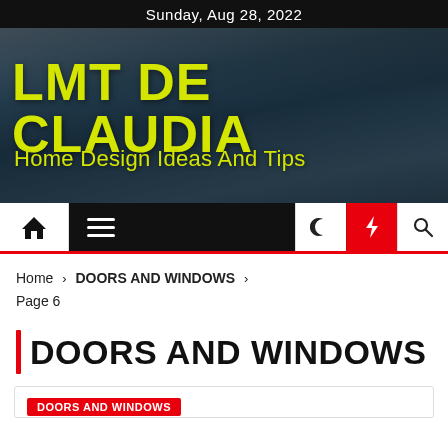Sunday, Aug 28, 2022
[Figure (photo): Background photo of a blue craftsman-style house with the blog title overlay]
LMT DE CLAUDIA
Home Design Ideas And Tips
[Figure (screenshot): Navigation bar with home icon, hamburger menu, moon icon, lightning bolt (active, red background), and search icon]
Home > DOORS AND WINDOWS > Page 6
DOORS AND WINDOWS
DOORS AND WINDOWS